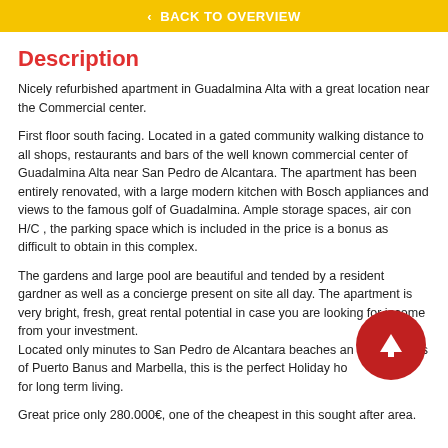< BACK TO OVERVIEW
Description
Nicely refurbished apartment in Guadalmina Alta with a great location near the Commercial center.
First floor south facing. Located in a gated community walking distance to all shops, restaurants and bars of the well known commercial center of Guadalmina Alta near San Pedro de Alcantara. The apartment has been entirely renovated, with a large modern kitchen with Bosch appliances and views to the famous golf of Guadalmina. Ample storage spaces, air con H/C , the parking space which is included in the price is a bonus as difficult to obtain in this complex.
The gardens and large pool are beautiful and tended by a resident gardner as well as a concierge present on site all day. The apartment is very bright, fresh, great rental potential in case you are looking for income from your investment.
Located only minutes to San Pedro de Alcantara beaches and attractions of Puerto Banus and Marbella, this is the perfect Holiday home or tough for long term living.
Great price only 280.000€, one of the cheapest in this sought after area.
[Figure (other): Red circular scroll-to-top button with white upward arrow]